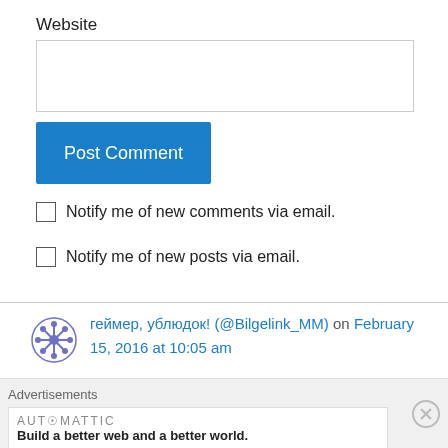Website
[Figure (screenshot): Empty website text input field]
[Figure (screenshot): Post Comment button (blue)]
Notify me of new comments via email.
Notify me of new posts via email.
геймер, ублюдок! (@Bilgelink_MM) on February 15, 2016 at 10:05 am
Advertisements
[Figure (logo): Automattic logo and tagline: Build a better web and a better world.]